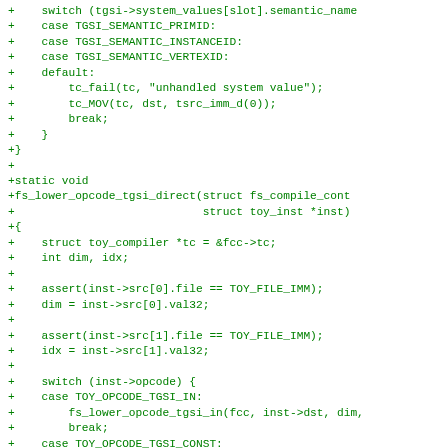[Figure (screenshot): Source code diff snippet in green monospace font showing C code for switch statements handling TGSI semantic names and a static void function fs_lower_opcode_tgsi_direct with assertions and switch on opcode.]